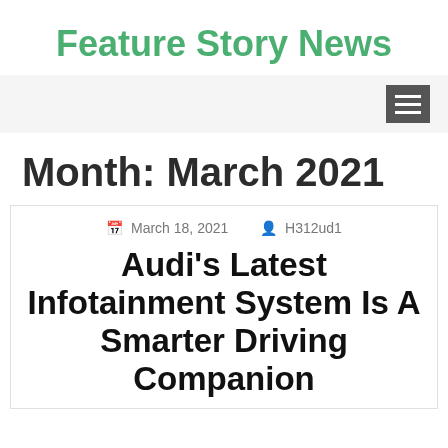Feature Story News
Month: March 2021
March 18, 2021   H312ud1
Audi's Latest Infotainment System Is A Smarter Driving Companion